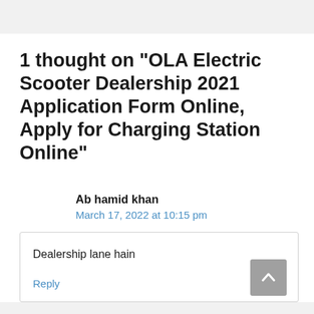1 thought on “OLA Electric Scooter Dealership 2021 Application Form Online, Apply for Charging Station Online”
Ab hamid khan
March 17, 2022 at 10:15 pm
Dealership lane hain
Reply